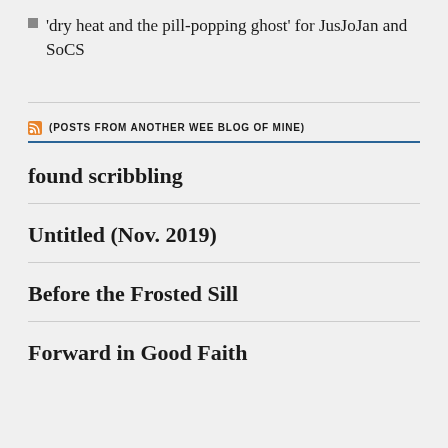‘dry heat and the pill-popping ghost’ for JusJoJan and SoCS
(POSTS FROM ANOTHER WEE BLOG OF MINE)
found scribbling
Untitled (Nov. 2019)
Before the Frosted Sill
Forward in Good Faith